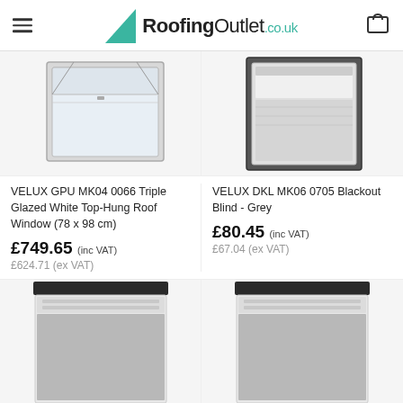RoofingOutlet.co.uk
[Figure (photo): VELUX GPU MK04 0066 roof window product photo showing white top-hung window open]
VELUX GPU MK04 0066 Triple Glazed White Top-Hung Roof Window (78 x 98 cm)
£749.65 (inc VAT)
£624.71 (ex VAT)
[Figure (photo): VELUX DKL MK06 0705 blackout blind grey product photo on roof window]
VELUX DKL MK06 0705 Blackout Blind - Grey
£80.45 (inc VAT)
£67.04 (ex VAT)
[Figure (photo): Product photo of grey blackout blind for roof window - left item]
[Figure (photo): Product photo of grey blackout blind for roof window - right item]